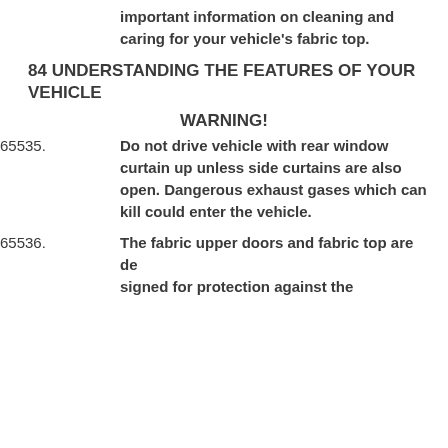important information on cleaning and caring for your vehicle's fabric top.
84 UNDERSTANDING THE FEATURES OF YOUR VEHICLE
WARNING!
65535. Do not drive vehicle with rear window curtain up unless side curtains are also open. Dangerous exhaust gases which can kill could enter the vehicle.
65536. The fabric upper doors and fabric top are de signed for protection against the